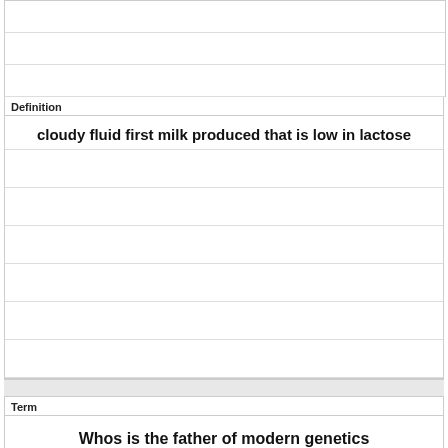Definition
cloudy fluid first milk produced that is low in lactose
Term
Whos is the father of modern genetics